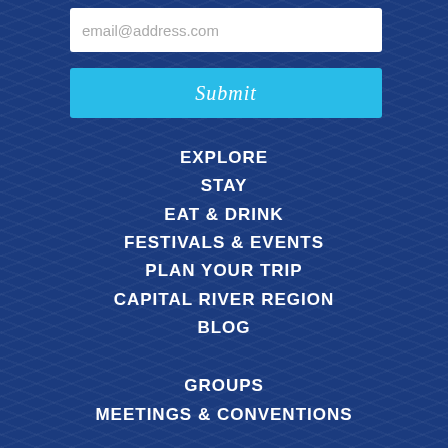email@address.com
Submit
EXPLORE
STAY
EAT & DRINK
FESTIVALS & EVENTS
PLAN YOUR TRIP
CAPITAL RIVER REGION
BLOG
GROUPS
MEETINGS & CONVENTIONS